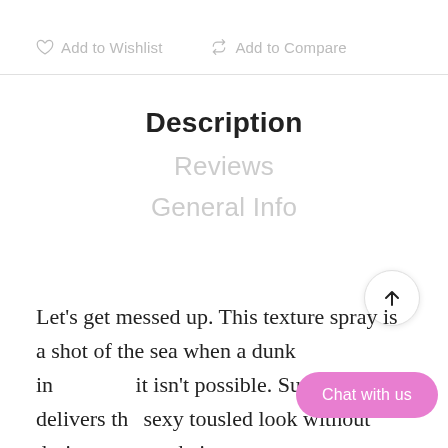♡ Add to Wishlist   ↻ Add to Compare
Description
Reviews
General Info
Let's get messed up. This texture spray is a shot of the sea when a dunk in [it] isn't possible. Surf Bomb delivers the sexy tousled look without drying out your hair